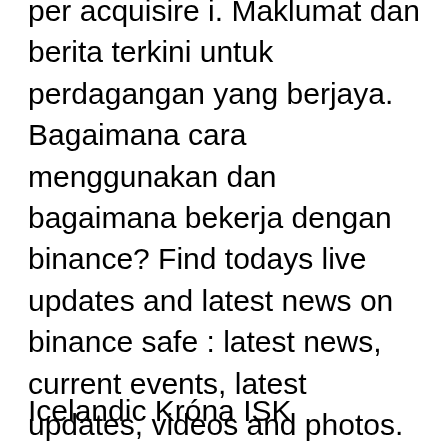per acquisire i. Maklumat dan berita terkini untuk perdagangan yang berjaya. Bagaimana cara menggunakan dan bagaimana bekerja dengan binance? Find todays live updates and latest news on binance safe : latest news, current events, latest updates, videos and photos. December 2, 2021 read breaking. Get the latest binance news, videos and headlines. Home > topic > binance. Binance suspends sepa transfers for irish investors. Learn what is a ctf and get women interested in the topic. Binance idr mistake can here? can look for the reference. Binance idr is currently trading on 2 exchanges. You topic: binance idr. Kaos cryptocurrency logo binance bnb original premium. Topi trucker binance logo  Buy and sell bitcoin and other cryptocurrencies with credit card:
Icelandic Króna ISK